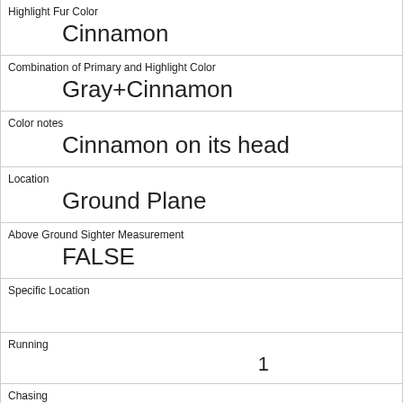| Highlight Fur Color | Cinnamon |
| Combination of Primary and Highlight Color | Gray+Cinnamon |
| Color notes | Cinnamon on its head |
| Location | Ground Plane |
| Above Ground Sighter Measurement | FALSE |
| Specific Location |  |
| Running | 1 |
| Chasing | 0 |
| Climbing | 0 |
| Eating | 0 |